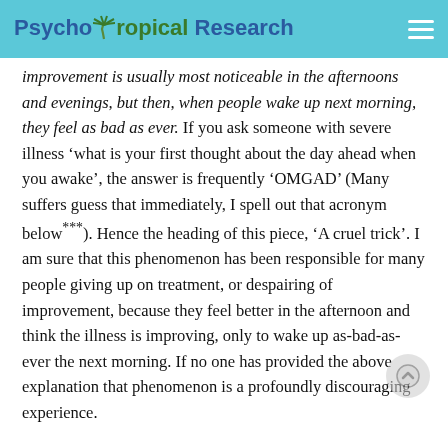Psycho Tropical Research
improvement is usually most noticeable in the afternoons and evenings, but then, when people wake up next morning, they feel as bad as ever. If you ask someone with severe illness 'what is your first thought about the day ahead when you awake', the answer is frequently 'OMGAD' (Many suffers guess that immediately, I spell out that acronym below***). Hence the heading of this piece, 'A cruel trick'. I am sure that this phenomenon has been responsible for many people giving up on treatment, or despairing of improvement, because they feel better in the afternoon and think the illness is improving, only to wake up as-bad-as-ever the next morning. If no one has provided the above explanation that phenomenon is a profoundly discouraging experience.
Remember the 'waves on the beach' analogy above.